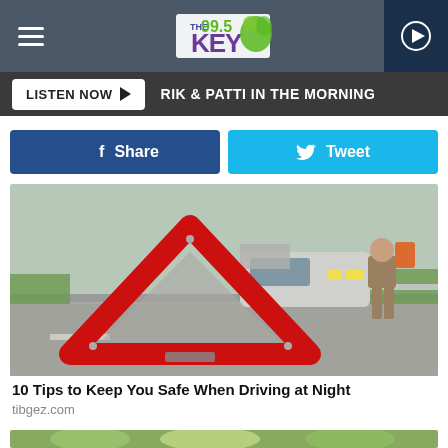THE 99.5 KEY — RIK & PATTI IN THE MORNING
LISTEN NOW ▶  RIK & PATTI IN THE MORNING
Share  Tweet
[Figure (photo): A red warning triangle on a road with a car and a person in the background holding a red object]
10 Tips to Keep You Safe When Driving at Night
tibgez.com
[Figure (photo): Blurred green and yellow bokeh background — partial bottom image strip]